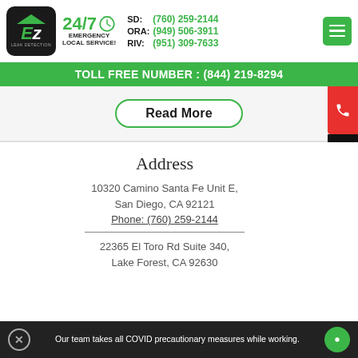[Figure (logo): EZ Leak Detection logo with house roof icon in dark rounded square, 24/7 emergency local service clock graphic, phone numbers for SD, ORA, RIV regions, and green hamburger menu button]
TOLL FREE NUMBER : (844) 219-8294
Read More
Address
10320 Camino Santa Fe Unit E,
San Diego, CA 92121
Phone: (760) 259-2144
22365 El Toro Rd Suite 340,
Lake Forest, CA 92630
Our team takes all COVID precautionary measures while working.